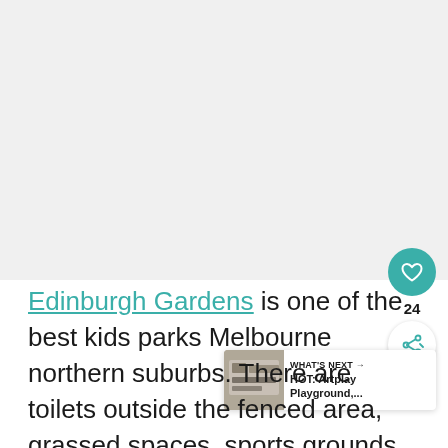[Figure (photo): Large image area (mostly white/blank in the scan) occupying the top portion of the page]
Edinburgh Gardens is one of the best kids parks Melbourne northern suburbs. There are toilets outside the fenced area, grassed spaces, sports grounds and an off leash dog park.